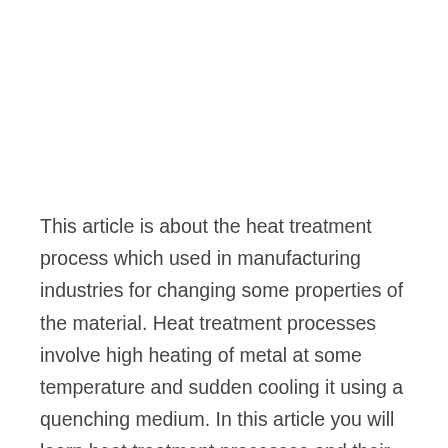This article is about the heat treatment process which used in manufacturing industries for changing some properties of the material. Heat treatment processes involve high heating of metal at some temperature and sudden cooling it using a quenching medium. In this article you will learn heat treatment processes and their classification. we will also see the Purpose of heat treatment processes, why they are carried out.